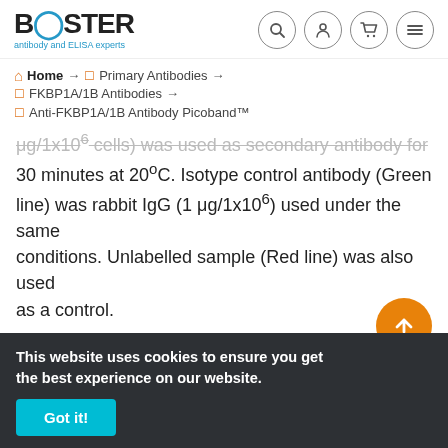BOSTER antibody and ELISA experts — navigation icons: search, account, cart, menu
Home → Primary Antibodies → FKBP1A/1B Antibodies → Anti-FKBP1A/1B Antibody Picoband™
μg/1x10⁶ cells) was used as secondary antibody for 30 minutes at 20°C. Isotype control antibody (Green line) was rabbit IgG (1 μg/1x10⁶) used under the same conditions. Unlabelled sample (Red line) was also used as a control.
+ Protein Target Info & Infographic
Gene/Protein Information For